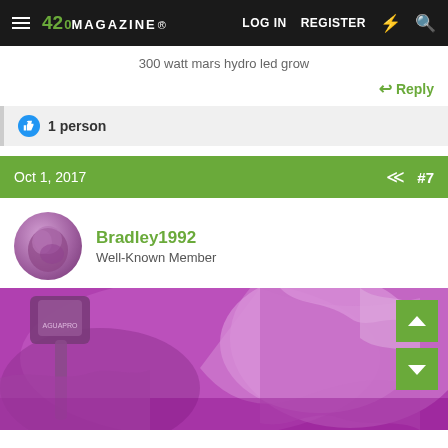420 MAGAZINE — LOG IN  REGISTER
300 watt mars hydro led grow
Reply
1 person
Oct 1, 2017  #7
Bradley1992
Well-Known Member
[Figure (photo): Purple-tinted grow tent interior with a shovel tool and reflective material, lit by LED grow light giving a purple/pink hue]